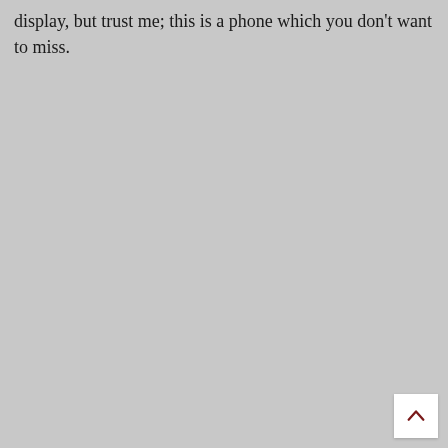display, but trust me; this is a phone which you don't want to miss.